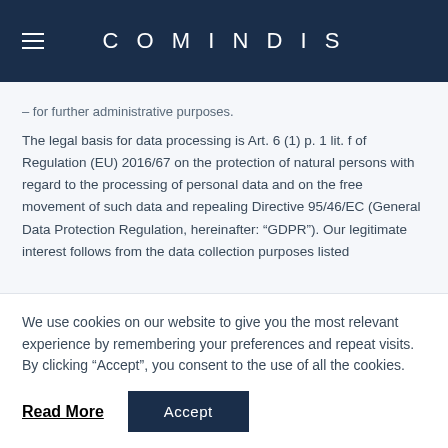COMINDIS
– for further administrative purposes.
The legal basis for data processing is Art. 6 (1) p. 1 lit. f of Regulation (EU) 2016/67 on the protection of natural persons with regard to the processing of personal data and on the free movement of such data and repealing Directive 95/46/EC (General Data Protection Regulation, hereinafter: “GDPR”). Our legitimate interest follows from the data collection purposes listed
We use cookies on our website to give you the most relevant experience by remembering your preferences and repeat visits. By clicking “Accept”, you consent to the use of all the cookies.
Read More
Accept